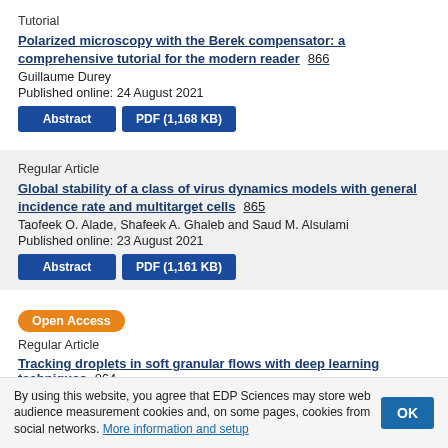Tutorial
Polarized microscopy with the Berek compensator: a comprehensive tutorial for the modern reader   866
Guillaume Durey
Published online: 24 August 2021
Abstract   PDF (1,168 KB)
Regular Article
Global stability of a class of virus dynamics models with general incidence rate and multitarget cells   865
Taofeek O. Alade, Shafeek A. Ghaleb and Saud M. Alsulami
Published online: 23 August 2021
Abstract   PDF (1,161 KB)
Open Access
Regular Article
Tracking droplets in soft granular flows with deep learning techniques   864
By using this website, you agree that EDP Sciences may store web audience measurement cookies and, on some pages, cookies from social networks. More information and setup